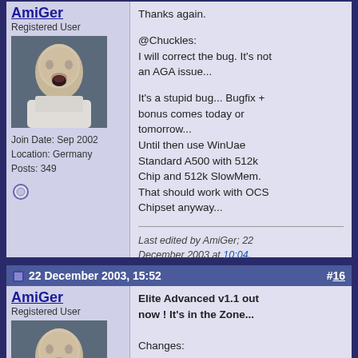Thanks again.
@Chuckles:
I will correct the bug. It's not an AGA issue...

It's a stupid bug... Bugfix + bonus comes today or tomorrow...
Until then use WinUae Standard A500 with 512k Chip and 512k SlowMem. That should work with OCS Chipset anyway...
Last edited by AmiGer; 22 December 2003 at 10:04.
22 December 2003, 15:52   #16
AmiGer
Registered User
Join Date: Sep 2002
Location: Germany
Posts: 349
Elite Advanced v1.1 out now ! It's in the Zone...

Changes:
- fixed Bug concerning machines with much memory and/or crazy hardware setup

- BONUS: